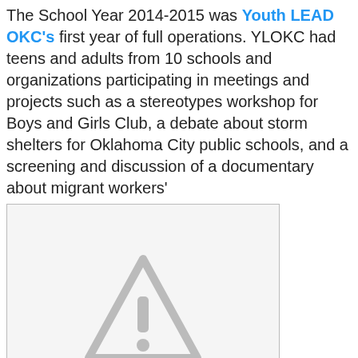The School Year 2014-2015 was Youth LEAD OKC's first year of full operations.  YLOKC had teens and adults from 10 schools and organizations participating in meetings and projects such as a stereotypes workshop for Boys and Girls Club, a debate about storm shelters for Oklahoma City public schools, and a screening and discussion of a documentary about migrant workers'
[Figure (photo): Placeholder image with warning triangle icon indicating an unavailable or broken image]
children, "La Cosecha."  The big outreach project of the year was a cultural fest, holiday book giveaway for Positive Tomorrows School in partnership with the Come and Read with Me Program of the Metropolitan Library Systems. Youth LEAD also participated in MLK Service Day Advocacy-volunteering